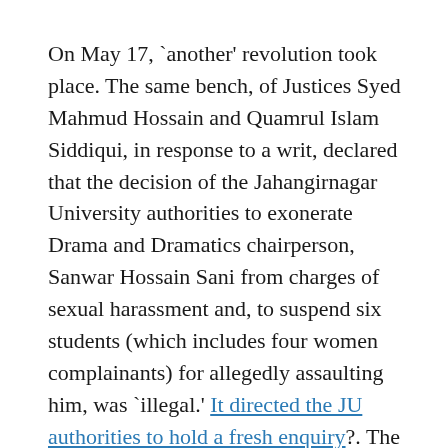On May 17, `another' revolution took place. The same bench, of Justices Syed Mahmud Hossain and Quamrul Islam Siddiqui, in response to a writ, declared that the decision of the Jahangirnagar University authorities to exonerate Drama and Dramatics chairperson, Sanwar Hossain Sani from charges of sexual harassment and, to suspend six students (which includes four women complainants) for allegedly assaulting him, was `illegal.' It directed the JU authorities to hold a fresh enquiry?. The new one, according to the verdict, should be conducted by `neutral persons.' It should accord with the HC's recent guidelines. The writ petition, represented by